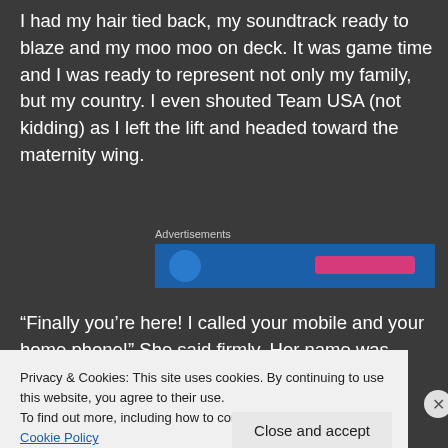I had my hair tied back, my soundtrack ready to blaze and my moo moo on deck. It was game time and I was ready to represent not only my family, but my country. I even shouted Team USA (not kidding) as I left the lift and headed toward the maternity wing.
[Figure (other): Advertisement banner with blue background, circular logo icon on left, and pink/magenta button on right]
“Finally you’re here! I called your mobile and your home phone!” She said firmly. Her name was Eilene and
Privacy & Cookies: This site uses cookies. By continuing to use this website, you agree to their use.
To find out more, including how to control cookies, see here: Cookie Policy
Close and accept